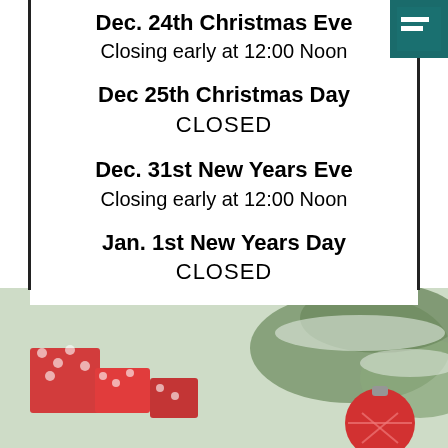Dec. 24th Christmas Eve
Closing early at 12:00 Noon
Dec 25th Christmas Day
CLOSED
Dec. 31st New Years Eve
Closing early at 12:00 Noon
Jan. 1st New Years Day
CLOSED
[Figure (photo): Christmas decorations — red gift boxes with white polka dots and red ornament ball on pine branches with snow]